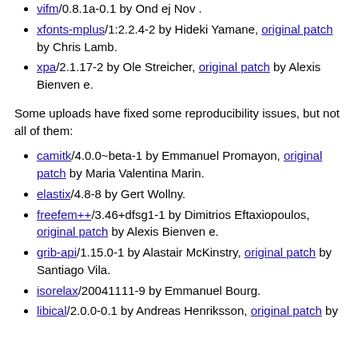vifm/0.8.1a-0.1 by Ond ej Nov .
xfonts-mplus/1:2.2.4-2 by Hideki Yamane, original patch by Chris Lamb.
xpa/2.1.17-2 by Ole Streicher, original patch by Alexis Bienven e.
Some uploads have fixed some reproducibility issues, but not all of them:
camitk/4.0.0~beta-1 by Emmanuel Promayon, original patch by Maria Valentina Marin.
elastix/4.8-8 by Gert Wollny.
freefem++/3.46+dfsg1-1 by Dimitrios Eftaxiopoulos, original patch by Alexis Bienven e.
grib-api/1.15.0-1 by Alastair McKinstry, original patch by Santiago Vila.
isorelax/20041111-9 by Emmanuel Bourg.
libical/2.0.0-0.1 by Andreas Henriksson, original patch by Chris Lamb.